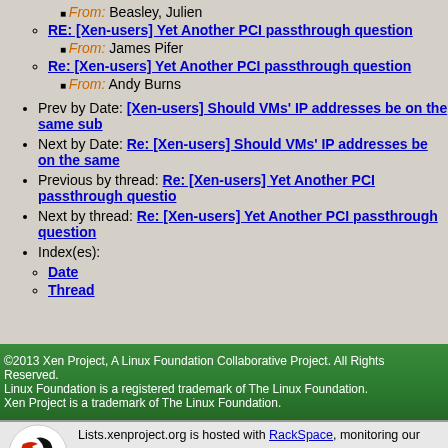From: Beasley, Julien
RE: [Xen-users] Yet Another PCI passthrough question
From: James Pifer
Re: [Xen-users] Yet Another PCI passthrough question
From: Andy Burns
Prev by Date: [Xen-users] Should VMs' IP addresses be on the same sub
Next by Date: Re: [Xen-users] Should VMs' IP addresses be on the same
Previous by thread: Re: [Xen-users] Yet Another PCI passthrough questio
Next by thread: Re: [Xen-users] Yet Another PCI passthrough question
Index(es):
Date
Thread
©2013 Xen Project, A Linux Foundation Collaborative Project. All Rights Reserved. Linux Foundation is a registered trademark of The Linux Foundation. Xen Project is a trademark of The Linux Foundation.
Lists.xenproject.org is hosted with RackSpace, monitoring our servers 24x7x365 and backed by RackSpace's Fanatical Support®.